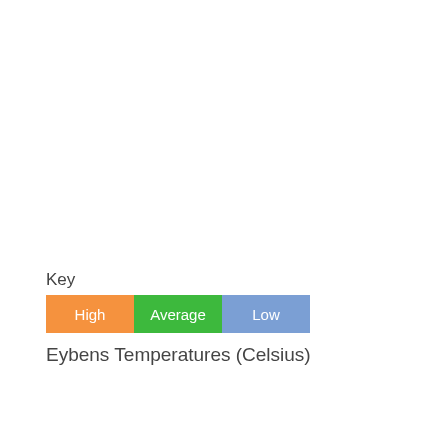Key
[Figure (other): Legend showing three colored boxes labeled High (orange), Average (green), and Low (blue-grey) for Eybens Temperatures chart]
Eybens Temperatures (Celsius)